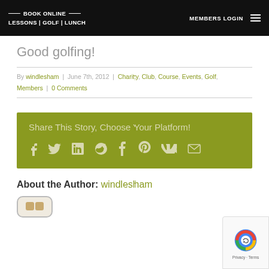BOOK ONLINE — LESSONS | GOLF | LUNCH   MEMBERS LOGIN
Good golfing!
By windlesham | June 7th, 2012 | Charity, Club, Course, Events, Golf, Members | 0 Comments
[Figure (infographic): Share This Story, Choose Your Platform! with social media icons: Facebook, Twitter, LinkedIn, Reddit, Tumblr, Pinterest, VK, Email]
About the Author: windlesham
[Figure (other): reCAPTCHA badge with Privacy and Terms links]